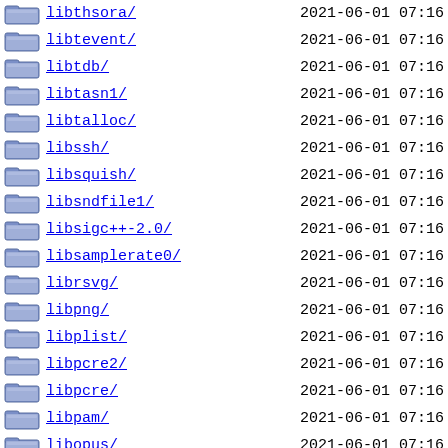libthsora/  2021-06-01 07:16
libtevent/  2021-06-01 07:16
libtdb/  2021-06-01 07:16
libtasn1/  2021-06-01 07:16
libtalloc/  2021-06-01 07:16
libssh/  2021-06-01 07:16
libsquish/  2021-06-01 07:16
libsndfile1/  2021-06-01 07:16
libsigc++-2.0/  2021-06-01 07:16
libsamplerate0/  2021-06-01 07:16
librsvg/  2021-06-01 07:16
libpng/  2021-06-01 07:16
libplist/  2021-06-01 07:16
libpcre2/  2021-06-01 07:16
libpcre/  2021-06-01 07:16
libpam/  2021-06-01 07:16
libopus/  2021-06-01 07:16